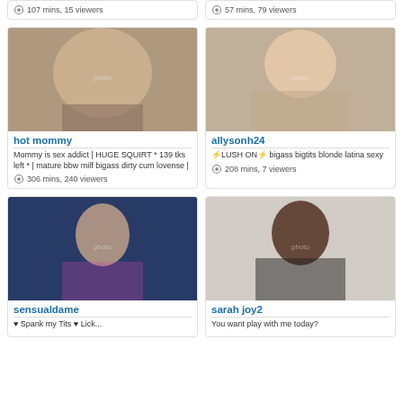107 mins, 15 viewers
57 mins, 79 viewers
[Figure (photo): Webcam thumbnail of hot mommy]
hot mommy
Mommy is sex addict | HUGE SQUIRT * 139 tks left * | mature bbw milf bigass dirty cum lovense |
306 mins, 240 viewers
[Figure (photo): Webcam thumbnail of allysonh24]
allysonh24
⚡LUSH ON⚡ bigass bigtits blonde latina sexy
208 mins, 7 viewers
[Figure (photo): Webcam thumbnail of sensualdame]
sensualdame
♥ Spank my Tits ♥ Lick...
[Figure (photo): Webcam thumbnail of sarah joy2]
sarah joy2
You want play with me today?